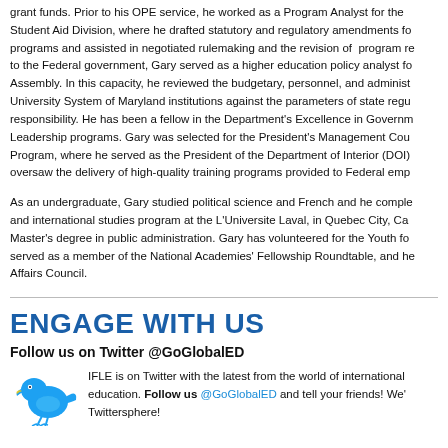grant funds. Prior to his OPE service, he worked as a Program Analyst for the Student Aid Division, where he drafted statutory and regulatory amendments for programs and assisted in negotiated rulemaking and the revision of program re... to the Federal government, Gary served as a higher education policy analyst for Assembly. In this capacity, he reviewed the budgetary, personnel, and administ... University System of Maryland institutions against the parameters of state regu... responsibility. He has been a fellow in the Department's Excellence in Governm... Leadership programs. Gary was selected for the President's Management Cou... Program, where he served as the President of the Department of Interior (DOI)... oversaw the delivery of high-quality training programs provided to Federal emp...
As an undergraduate, Gary studied political science and French and he comple... and international studies program at the L'Universite Laval, in Quebec City, Ca... Master's degree in public administration. Gary has volunteered for the Youth fo... served as a member of the National Academies' Fellowship Roundtable, and h... Affairs Council.
ENGAGE WITH US
Follow us on Twitter @GoGlobalED
IFLE is on Twitter with the latest from the world of international education. Follow us @GoGlobalED and tell your friends! We'... Twittersphere!